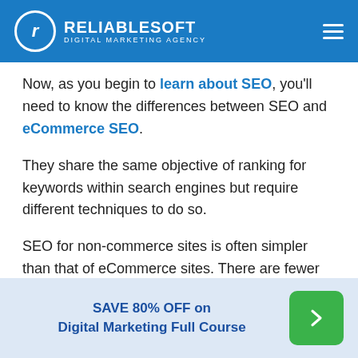RELIABLESOFT DIGITAL MARKETING AGENCY
Now, as you begin to learn about SEO, you'll need to know the differences between SEO and eCommerce SEO.
They share the same objective of ranking for keywords within search engines but require different techniques to do so.
SEO for non-commerce sites is often simpler than that of eCommerce sites. There are fewer pages to optimize and these pages are generally made up of just written content.
SAVE 80% OFF on Digital Marketing Full Course